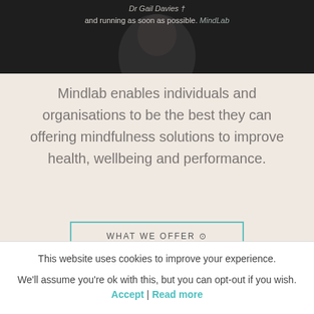[Figure (photo): Dark photo of a person with overlaid text attribution: 'Dr Gail Davies' and 'MindLab', with text 'and running as soon as possible.']
Mindlab enables individuals and organisations to be the best they can offering mindfulness solutions to improve health, wellbeing and performance.
WHAT WE OFFER
This website uses cookies to improve your experience. We'll assume you're ok with this, but you can opt-out if you wish. Accept | Read more